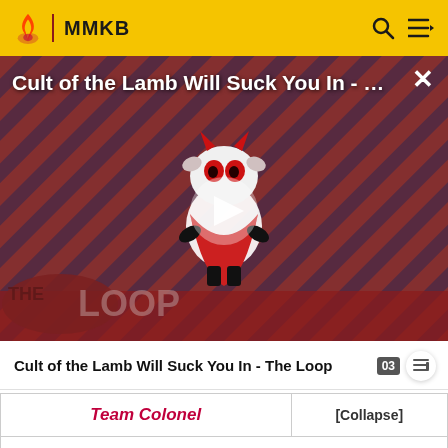MMKB
[Figure (screenshot): Video thumbnail for 'Cult of the Lamb Will Suck You In - The Loop' showing a cartoon lamb character with red eyes on a striped red/purple background, with a play button overlay and 'THE LOOP' text badge at bottom left. Title text overlay reads 'Cult of the Lamb Will Suck You In - ...' with a close (X) button.]
Cult of the Lamb Will Suck You In - The Loop
| Team Colonel | [Collapse] |
| --- | --- |
| Leaders |  |